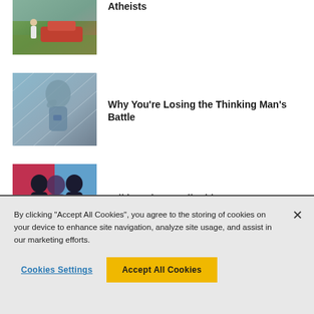[Figure (photo): Photo of a person standing near a red car outdoors with trees in background]
Atheists
[Figure (photo): Illustration of a thinker statue overlaid with geometric diamond pattern in blue-grey tones]
Why You're Losing the Thinking Man's Battle
[Figure (illustration): Illustration of two male figures side by side, one shadow-like, on red and blue background]
Talking About Hell With Someone You Care About
By clicking “Accept All Cookies”, you agree to the storing of cookies on your device to enhance site navigation, analyze site usage, and assist in our marketing efforts.
Cookies Settings
Accept All Cookies